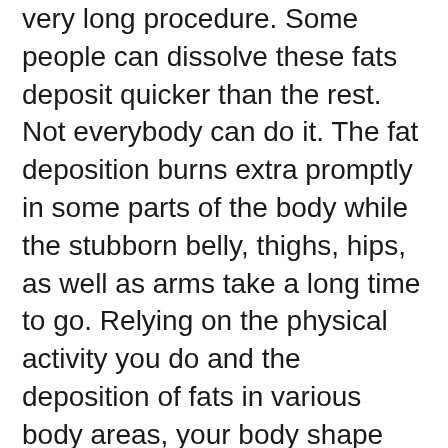very long procedure. Some people can dissolve these fats deposit quicker than the rest. Not everybody can do it. The fat deposition burns extra promptly in some parts of the body while the stubborn belly, thighs, hips, as well as arms take a long time to go. Relying on the physical activity you do and the deposition of fats in various body areas, your body shape varies, and so does your appearance.
There are a selection of options available in the market in the field of weight-reducing things, just a few of them actually function. Java Burn is among the leading options to trigger a natural weight loss, as well as this review will evaluate the points that add to its popularity.